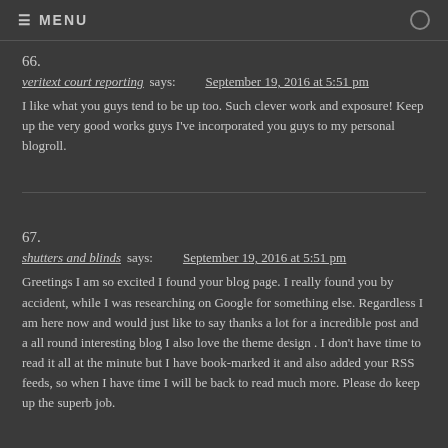≡ MENU
66.
veritext court reporting says: September 19, 2016 at 5:51 pm
I like what you guys tend to be up too. Such clever work and exposure! Keep up the very good works guys I've incorporated you guys to my personal blogroll.
67.
shutters and blinds says: September 19, 2016 at 5:51 pm
Greetings I am so excited I found your blog page. I really found you by accident, while I was researching on Google for something else. Regardless I am here now and would just like to say thanks a lot for a incredible post and a all round interesting blog I also love the theme design . I don't have time to read it all at the minute but I have book-marked it and also added your RSS feeds, so when I have time I will be back to read much more. Please do keep up the superb job.